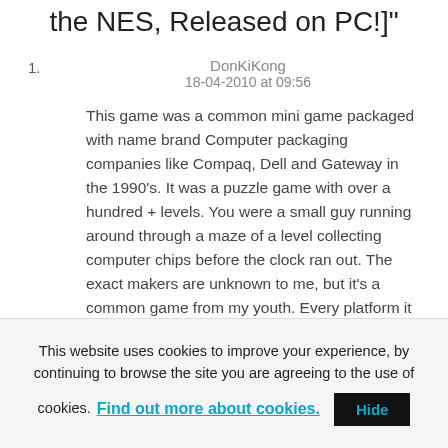the NES, Released on PC!]"
1. DonKiKong
18-04-2010 at 09:56
This game was a common mini game packaged with name brand Computer packaging companies like Compaq, Dell and Gateway in the 1990's. It was a puzzle game with over a hundred + levels. You were a small guy running around through a maze of a level collecting computer chips before the clock ran out. The exact makers are unknown to me, but it's a common game from my youth. Every platform it came out for was just a little different. Either black and white or color with the same basic
This website uses cookies to improve your experience, by continuing to browse the site you are agreeing to the use of cookies. Find out more about cookies.
Hide